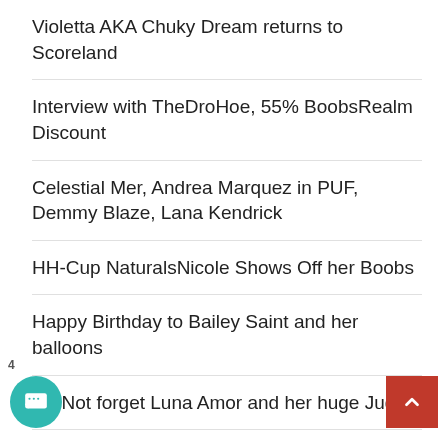Violetta AKA Chuky Dream returns to Scoreland
Interview with TheDroHoe, 55% BoobsRealm Discount
Celestial Mer, Andrea Marquez in PUF, Demmy Blaze, Lana Kendrick
HH-Cup NaturalsNicole Shows Off her Boobs
Happy Birthday to Bailey Saint and her balloons
Do Not forget Luna Amor and her huge Juggs
Meet Bosomy coed Busty Fairy
Hardcore News and Rumors, Katya P Cock tease, 35% OFF for 3 days